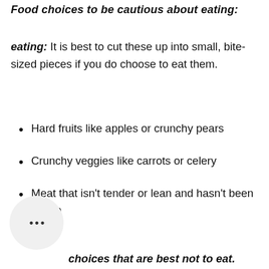Food choices to be cautious about eating:
eating: It is best to cut these up into small, bite-sized pieces if you do choose to eat them.
Hard fruits like apples or crunchy pears
Crunchy veggies like carrots or celery
Meat that isn't tender or lean and hasn't been cut up
Food choices that are best not to eat.